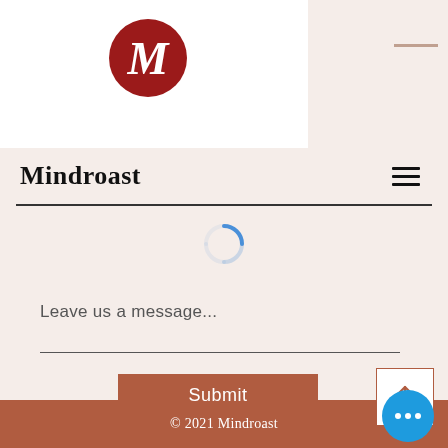[Figure (logo): Mindroast logo: red circle with white decorative M letter]
Mindroast
[Figure (other): Blue loading spinner/arc icon]
Leave us a message...
Submit
© 2021 Mindroast